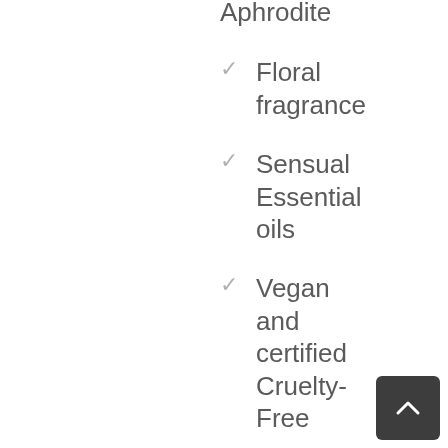Aphrodite
Floral fragrance
Sensual Essential oils
Vegan and certified Cruelty-Free
Certified organic ingredients
Smell divine,